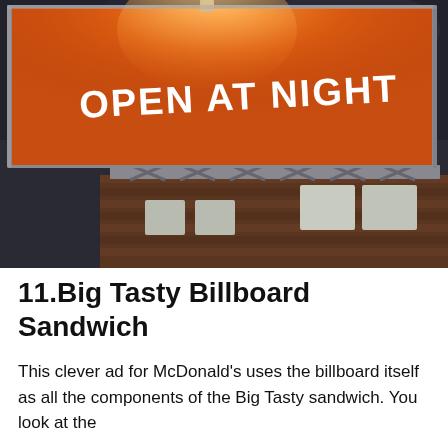[Figure (photo): A McDonald's billboard lit at night showing an orange/red illuminated board with white bold text reading 'OPEN AT NIGHT'. The billboard is mounted above a brick building. The background sky is dark and cloudy. A bright light from the top illuminates the orange billboard surface.]
11.Big Tasty Billboard Sandwich
This clever ad for McDonald's uses the billboard itself as all the components of the Big Tasty sandwich. You look at the